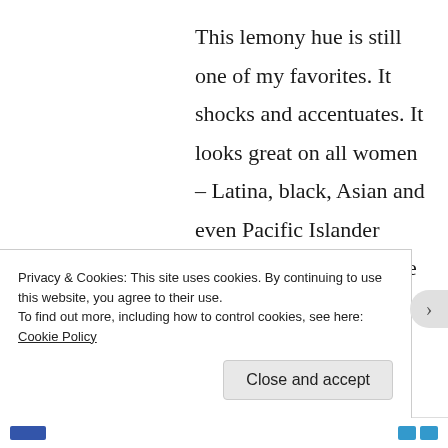This lemony hue is still one of my favorites. It shocks and accentuates. It looks great on all women – Latina, black, Asian and even Pacific Islander women like myself. Take a hint from one of my fashion inspirations, actress and fashionista Ashley Madekwe. Her fashion blog is full of pieces that she has worn on and off the red carpet. If you're lucky, she'll put one up for sale.
Privacy & Cookies: This site uses cookies. By continuing to use this website, you agree to their use. To find out more, including how to control cookies, see here: Cookie Policy
Close and accept